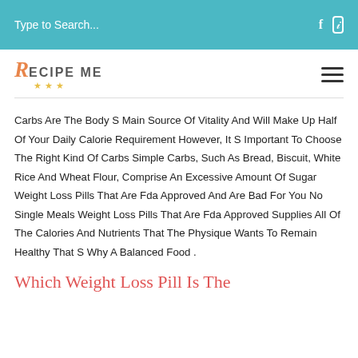Type to Search...
[Figure (logo): Recipe Me logo with stylized R and stars]
Carbs Are The Body S Main Source Of Vitality And Will Make Up Half Of Your Daily Calorie Requirement However, It S Important To Choose The Right Kind Of Carbs Simple Carbs, Such As Bread, Biscuit, White Rice And Wheat Flour, Comprise An Excessive Amount Of Sugar Weight Loss Pills That Are Fda Approved And Are Bad For You No Single Meals Weight Loss Pills That Are Fda Approved Supplies All Of The Calories And Nutrients That The Physique Wants To Remain Healthy That S Why A Balanced Food .
Which Weight Loss Pill Is The